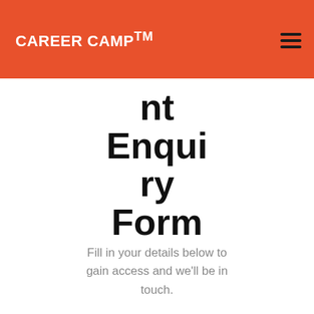CAREER CAMP™
nt Enquiry Form
Fill in your details below to gain access and we'll be in touch.
[Figure (screenshot): Name input field with placeholder text 'Name']
[Figure (screenshot): Email input field with placeholder text 'Email']